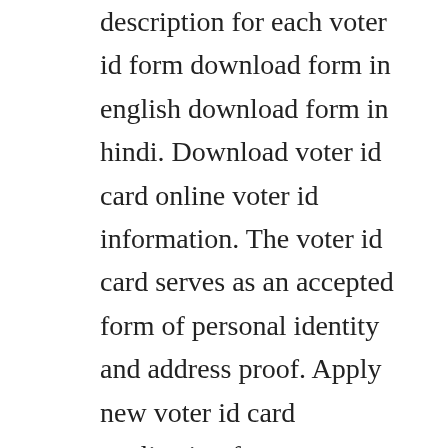description for each voter id form download form in english download form in hindi. Download voter id card online voter id information. The voter id card serves as an accepted form of personal identity and address proof. Apply new voter id card application form download here. You can fill the form online at or download the voter helpline mobile app to fill the form. The photograph will be used to print your image in the electoral roll and. How to fill form 6, 6a new voter card online application at. Form 8a application for transposition of entry in